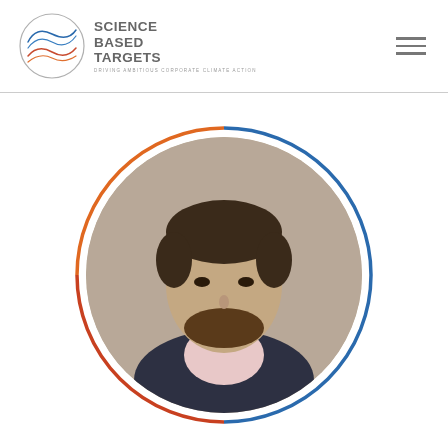[Figure (logo): Science Based Targets logo with circular wave graphic and text 'SCIENCE BASED TARGETS' and tagline 'DRIVING AMBITIOUS CORPORATE CLIMATE ACTION']
[Figure (photo): Circular framed portrait photo of a man with dark hair and beard wearing a dark blazer and pink shirt, with a two-tone red and blue circular border frame]